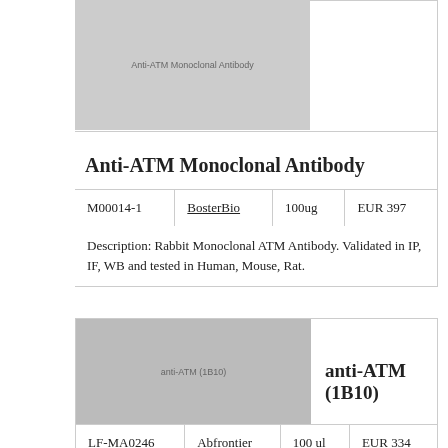[Figure (photo): Anti-ATM Monoclonal Antibody product image placeholder, gray background with text label]
Anti-ATM Monoclonal Antibody
| M00014-1 | BosterBio | 100ug | EUR 397 |
| --- | --- | --- | --- |
Description: Rabbit Monoclonal ATM Antibody. Validated in IP, IF, WB and tested in Human, Mouse, Rat.
[Figure (photo): anti-ATM (1B10) product image placeholder, gray background with text label]
anti-ATM (1B10)
| LF-MA0246 | Abfrontier | 100 ul | EUR 334 |
| --- | --- | --- | --- |